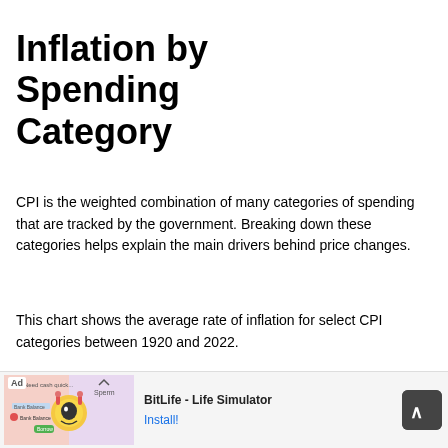Inflation by Spending Category
CPI is the weighted combination of many categories of spending that are tracked by the government. Breaking down these categories helps explain the main drivers behind price changes.
This chart shows the average rate of inflation for select CPI categories between 1920 and 2022.
[Figure (other): Advertisement banner: BitLife - Life Simulator app ad with Install button]